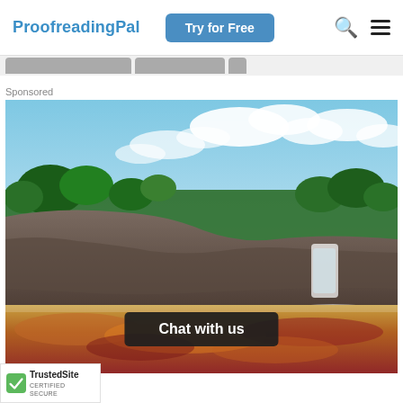ProofreadingPal  Try for Free
[Figure (screenshot): Navigation tab strip with two gray pill-shaped tabs and a partial third tab on the right]
Sponsored
[Figure (photo): Landscape photo of a tropical river scene with colorful red and yellow riverbed, rocky formations, green trees, waterfall, and blue sky with clouds (Caño Cristales, Colombia)]
Chat with us
[Figure (logo): TrustedSite CERTIFIED SECURE badge with green checkmark]